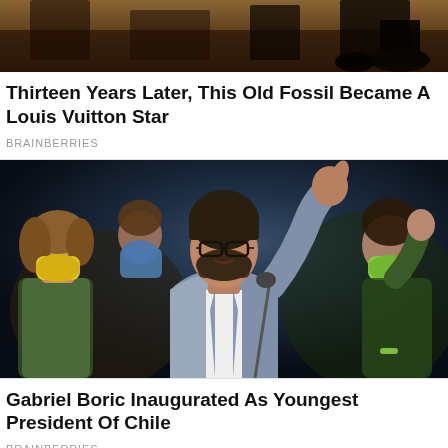[Figure (photo): Top partial photo showing dark wooden furniture or objects, cropped at top of page]
Thirteen Years Later, This Old Fossil Became A Louis Vuitton Star
BRAINBERRIES
[Figure (photo): Gabriel Boric raising his right fist/hand in the air, wearing a light blue blazer and white shirt with glasses and a beard, surrounded by people wearing COVID face masks in various colors (yellow, blue, green), dark background with crowd]
Gabriel Boric Inaugurated As Youngest President Of Chile
BRAINBERRIES